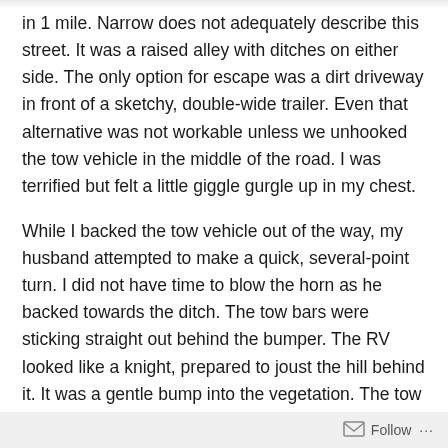in 1 mile. Narrow does not adequately describe this street. It was a raised alley with ditches on either side. The only option for escape was a dirt driveway in front of a sketchy, double-wide trailer. Even that alternative was not workable unless we unhooked the tow vehicle in the middle of the road. I was terrified but felt a little giggle gurgle up in my chest.
While I backed the tow vehicle out of the way, my husband attempted to make a quick, several-point turn. I did not have time to blow the horn as he backed towards the ditch. The tow bars were sticking straight out behind the bumper. The RV looked like a knight, prepared to joust the hill behind it. It was a gentle bump into the vegetation. The tow bars emerged,
Follow